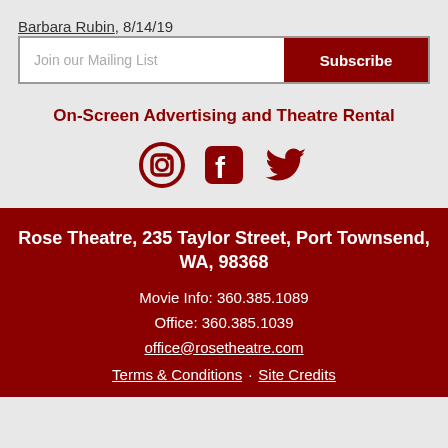Barbara Rubin, 8/14/19
Join our Mailing List  Subscribe
On-Screen Advertising and Theatre Rental
[Figure (illustration): Three social media icons: Instagram, Facebook, Twitter in dark red color]
Rose Theatre, 235 Taylor Street, Port Townsend, WA, 98368
Movie Info: 360.385.1089
Office: 360.385.1039
office@rosetheatre.com
Terms & Conditions · Site Credits